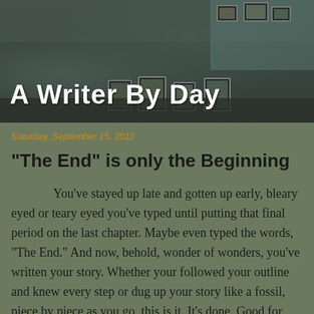A Writer By Day
Saturday, September 15, 2012
"The End" is only the Beginning
You’ve stayed up late and gotten up early, bleary eyed or teary eyed you’ve typed until putting that final period on the last chapter. Maybe even typed the words, “The End.” And now, behold, wonder of wonders, you’ve written your story. Whether your followed your outline and knew every step or dug up your story like a fossil, piece by piece as you go, this is it. It’s done. Good for you! Sit back, relax, go out to dinner or throw a party or